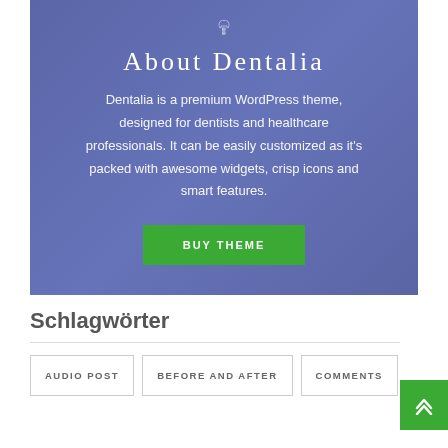[Figure (illustration): Dental implant / tooth icon in white outline on blue-purple background]
About Dentalia
Dentalia is a premium WordPress theme, designed for dentists and healthcare professionals. It can be easily customized as it's packed with awesome widgets, crisp icons and smart features.
BUY THEME
Schlagwörter
AUDIO POST
BEFORE AND AFTER
COMMENTS